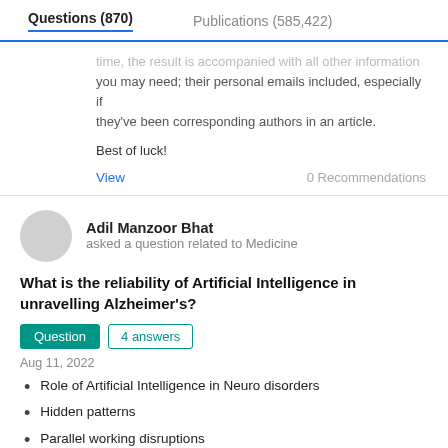Questions (870)    Publications (585,422)
time, the result is accompanied with all other information you may need; their personal emails included, especially if they've been corresponding authors in an article.

Best of luck!
View
0 Recommendations
Adil Manzoor Bhat
asked a question related to Medicine
What is the reliability of Artificial Intelligence in unravelling Alzheimer's?
Question   4 answers
Aug 11, 2022
Role of Artificial Intelligence in Neuro disorders
Hidden patterns
Parallel working disruptions